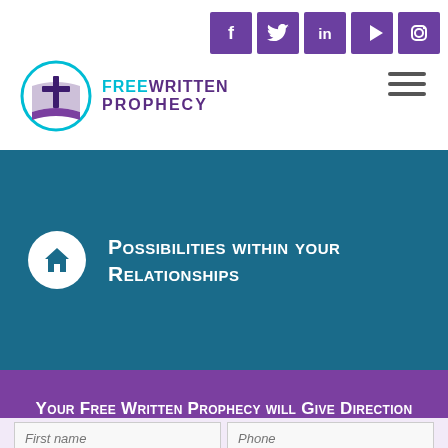[Figure (logo): Five purple social media icons: Facebook (f), Twitter (bird), LinkedIn (in), YouTube (play), Instagram (camera)]
[Figure (logo): Free Written Prophecy logo with cross in circle and book, teal and purple text]
[Figure (other): Hamburger menu icon (three horizontal bars)]
Possibilities within your Relationships
Your Free Written Prophecy will Give Direction
First name
Phone
Last name
United States